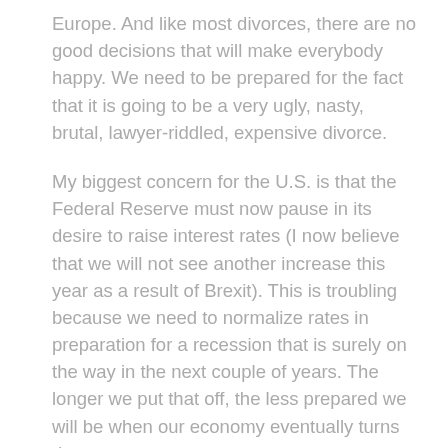Europe. And like most divorces, there are no good decisions that will make everybody happy. We need to be prepared for the fact that it is going to be a very ugly, nasty, brutal, lawyer-riddled, expensive divorce.
My biggest concern for the U.S. is that the Federal Reserve must now pause in its desire to raise interest rates (I now believe that we will not see another increase this year as a result of Brexit). This is troubling because we need to normalize rates in preparation for a recession that is surely on the way in the next couple of years. The longer we put that off, the less prepared we will be when our economy eventually turns down.